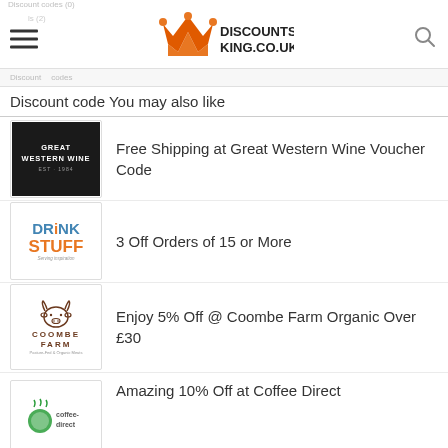DISCOUNTS KING.CO.UK
Discount code You may also like
Free Shipping at Great Western Wine Voucher Code
3 Off Orders of 15 or More
Enjoy 5% Off @ Coombe Farm Organic Over £30
Amazing 10% Off at Coffee Direct